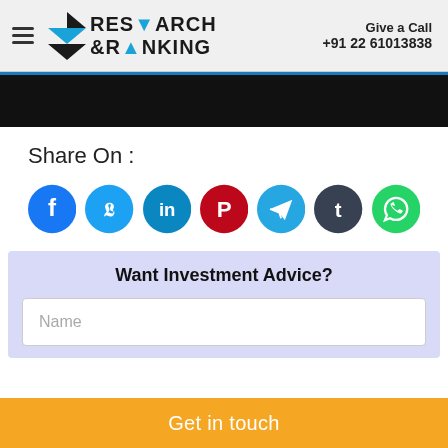Research & Ranking | Give a Call +91 22 61013838
[Figure (screenshot): Black banner section of website]
Share On :
[Figure (infographic): Social share icons: Facebook, Twitter, LinkedIn, Pinterest, Telegram, Tumblr, WhatsApp]
Want Investment Advice?
Name
Get in touch